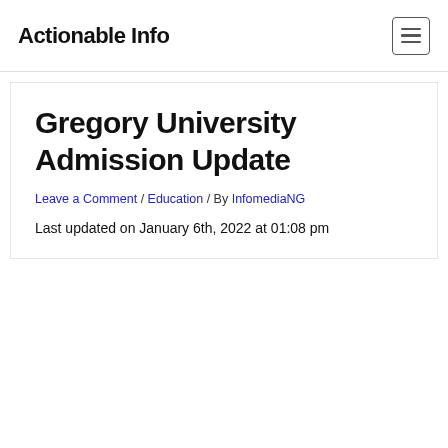Actionable Info
Gregory University Admission Update
Leave a Comment / Education / By InfomediaNG
Last updated on January 6th, 2022 at 01:08 pm